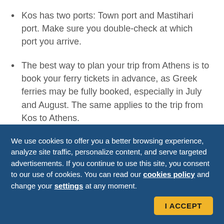Kos has two ports: Town port and Mastihari port. Make sure you double-check at which port you arrive.
The best way to plan your trip from Athens is to book your ferry tickets in advance, as Greek ferries may be fully booked, especially in July and August. The same applies to the trip from Kos to Athens.
The ferry trip from Athens is long and usually overnight, so booking a cabin is highly
We use cookies to offer you a better browsing experience, analyze site traffic, personalize content, and serve targeted advertisements. If you continue to use this site, you consent to our use of cookies. You can read our cookies policy and change your settings at any moment.